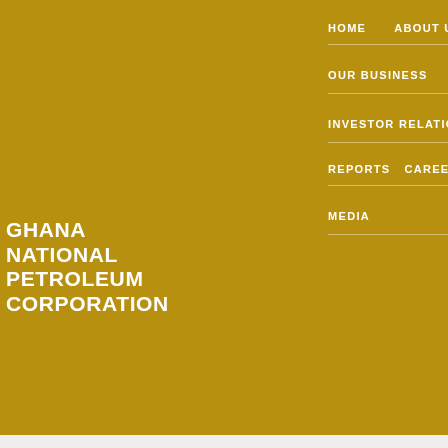GHANA NATIONAL PETROLEUM CORPORATION
HOME | ABOUT US | OUR BUSINESS | INVESTOR RELATIONS | REPORTS | CAREERS | CSR | MEDIA
GNPC S... Tokyo 2...
Out of th... 1. Emma... team me...
AFRICA FASTES...
Kumasi a... Speedste... selected... psycholo...